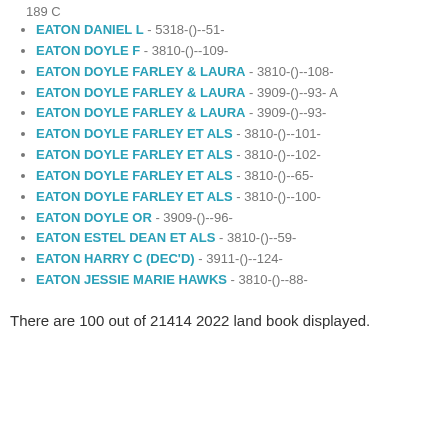EATON DANIEL L - 5318-()--51-
EATON DOYLE F - 3810-()--109-
EATON DOYLE FARLEY & LAURA - 3810-()--108-
EATON DOYLE FARLEY & LAURA - 3909-()--93- A
EATON DOYLE FARLEY & LAURA - 3909-()--93-
EATON DOYLE FARLEY ET ALS - 3810-()--101-
EATON DOYLE FARLEY ET ALS - 3810-()--102-
EATON DOYLE FARLEY ET ALS - 3810-()--65-
EATON DOYLE FARLEY ET ALS - 3810-()--100-
EATON DOYLE OR - 3909-()--96-
EATON ESTEL DEAN ET ALS - 3810-()--59-
EATON HARRY C (DEC'D) - 3911-()--124-
EATON JESSIE MARIE HAWKS - 3810-()--88-
There are 100 out of 21414 2022 land book displayed.